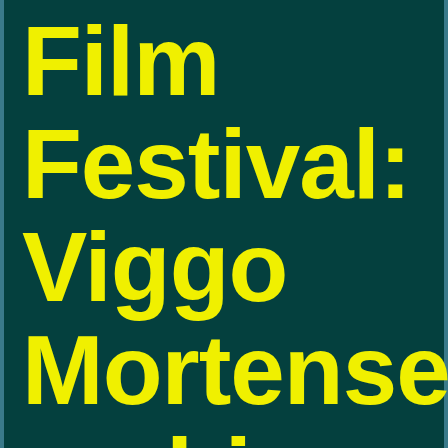Film Festival: Viggo Mortensen on his